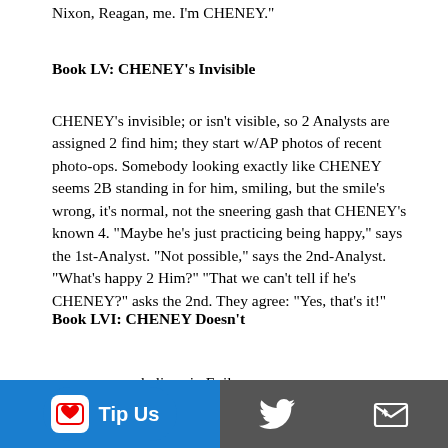Nixon, Reagan, me. I'm CHENEY."
Book LV: CHENEY's Invisible
CHENEY's invisible; or isn't visible, so 2 Analysts are assigned 2 find him; they start w/AP photos of recent photo-ops. Somebody looking exactly like CHENEY seems 2B standing in for him, smiling, but the smile's wrong, it's normal, not the sneering gash that CHENEY's known 4. "Maybe he's just practicing being happy," says the 1st-Analyst. "Not possible," says the 2nd-Analyst. "What's happy 2 Him?" "That we can't tell if he's CHENEY?" asks the 2nd. They agree: "Yes, that's it!"
Book LVI: CHENEY Doesn't
believe in Evil,
[Figure (infographic): Footer navigation bar with Ko-fi Tip Us button (blue), Twitter bird icon (dark gray), subscribe/email icon (dark gray), and plus icon (orange-red)]